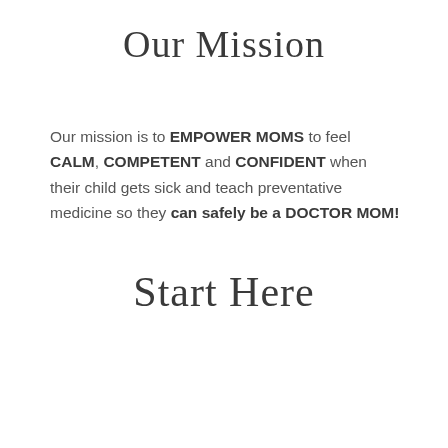Our Mission
Our mission is to EMPOWER MOMS to feel CALM, COMPETENT and CONFIDENT when their child gets sick and teach preventative medicine so they can safely be a DOCTOR MOM!
Start Here